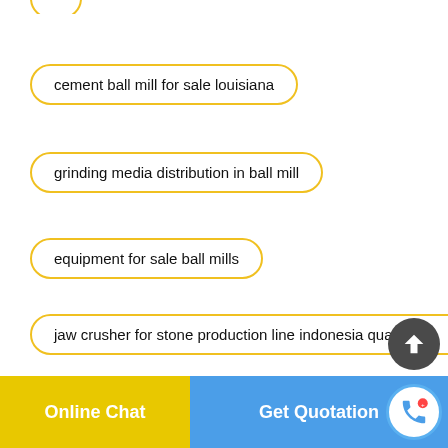cement ball mill for sale louisiana
grinding media distribution in ball mill
equipment for sale ball mills
jaw crusher for stone production line indonesia quality
high energy ball mill manufacturers chennai in chicago
Online Chat   Get Quotation